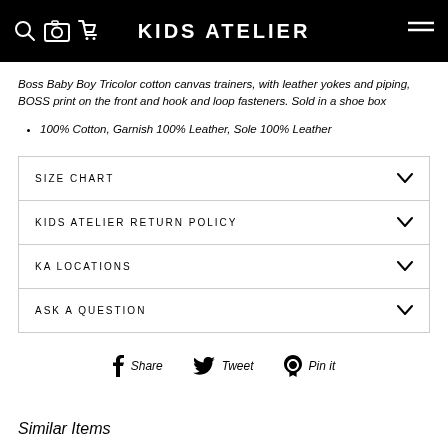KIDS ATELIER
Boss Baby Boy Tricolor cotton canvas trainers, with leather yokes and piping, BOSS print on the front and hook and loop fasteners. Sold in a shoe box
100% Cotton, Garnish 100% Leather, Sole 100% Leather
| SIZE CHART |  |
| --- | --- |
| KIDS ATELIER RETURN POLICY |  |
| KA LOCATIONS |  |
| ASK A QUESTION |  |
f Share   Tweet   Pin it
Similar Items